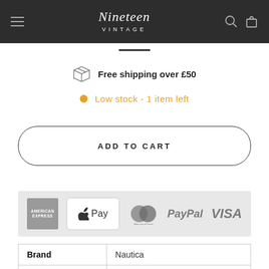Nineteen VINTAGE
Free shipping over £50
Low stock - 1 item left
ADD TO CART
[Figure (logo): Payment methods: American Express, Apple Pay, MasterCard, PayPal, VISA]
| Brand | Colour |
| --- | --- |
| Brand | Nautica |
| Colour | Grey |